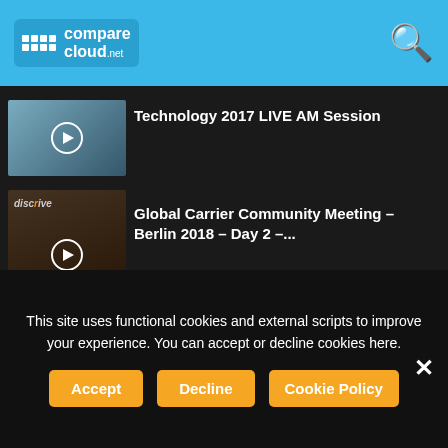comparecloud.net
[Figure (screenshot): Video thumbnail for Technology 2017 LIVE AM Session]
Technology 2017 LIVE AM Session
[Figure (screenshot): Video thumbnail for Global Carrier Community Meeting – Berlin 2018 – Day 2 –...]
Global Carrier Community Meeting – Berlin 2018 – Day 2 –...
[Figure (screenshot): Video thumbnail for Anthony Burrisson from ACR IT Solutions –]
Anthony Burrisson from ACR IT Solutions –
MORE STORIES
Bright Computing Wins 2017 HPC Innovation
This site uses functional cookies and external scripts to improve your experience. You can accept or decline cookies here.
Accept
Decline
Cookie Policy